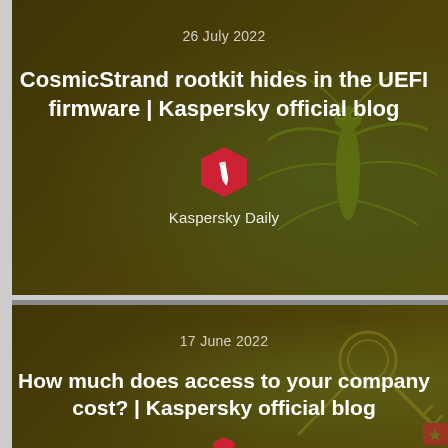26 July 2022
CosmicStrand rootkit hides in the UEFI firmware | Kaspersky official blog
Kaspersky Daily
17 June 2022
How much does access to your company cost? | Kaspersky official blog